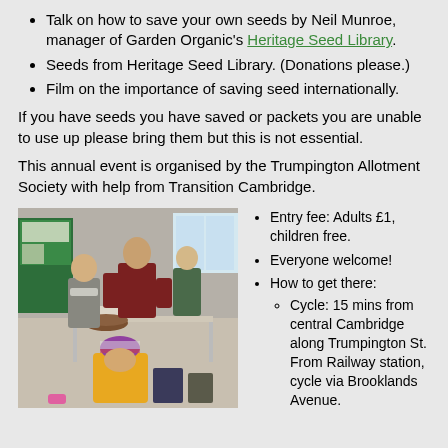Talk on how to save your own seeds by Neil Munroe, manager of Garden Organic's Heritage Seed Library.
Seeds from Heritage Seed Library. (Donations please.)
Film on the importance of saving seed internationally.
If you have seeds you have saved or packets you are unable to use up please bring them but this is not essential.
This annual event is organised by the Trumpington Allotment Society with help from Transition Cambridge.
[Figure (photo): Indoor event photo showing adults and children at tables, people examining seeds, one person in a red jacket leaning over a table, a child in a yellow jacket and striped hat in foreground, green display boards in background.]
Entry fee: Adults £1, children free.
Everyone welcome!
How to get there:
Cycle: 15 mins from central Cambridge along Trumpington St. From Railway station, cycle via Brooklands Avenue.